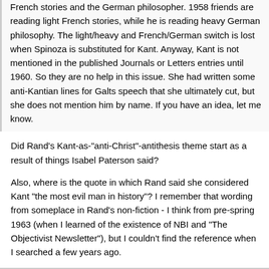French stories and the German philosopher. 1958 friends are reading light French stories, while he is reading heavy German philosophy. The light/heavy and French/German switch is lost when Spinoza is substituted for Kant. Anyway, Kant is not mentioned in the published Journals or Letters entries until 1960. So they are no help in this issue. She had written some anti-Kantian lines for Galts speech that she ultimately cut, but she does not mention him by name. If you have an idea, let me know.
Did Rand's Kant-as-"anti-Christ"-antithesis theme start as a result of things Isabel Paterson said?
Also, where is the quote in which Rand said she considered Kant "the most evil man in history"? I remember that wording from someplace in Rand's non-fiction - I think from pre-spring 1963 (when I learned of the existence of NBI and "The Objectivist Newsletter"), but I couldn't find the reference when I searched a few years ago.
Ellen